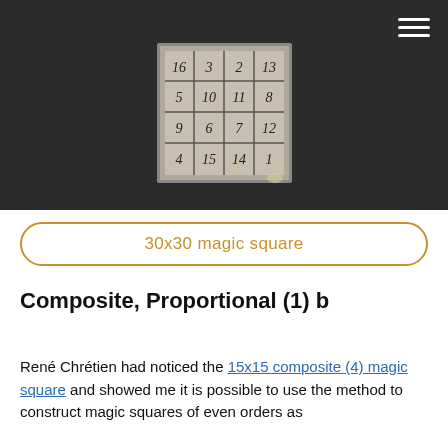[Figure (photo): Historic engraving or illustration of a 4x4 magic square with numbers carved or etched, shown in a dark decorative frame. Numbers visible include 16, 3, 2, 13, 5, 11, 8, 9, 6, 7, 12, 4, 15, 14, 1 arranged in a grid.]
30x30 magic square
Composite, Proportional (1) b
René Chrétien had noticed the 15x15 composite (4) magic square and showed me it is possible to use the method to construct magic squares of even orders as